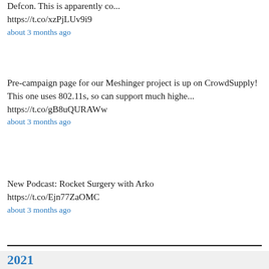Defcon. This is apparently co...
https://t.co/xzPjLUv9i9
about 3 months ago
Pre-campaign page for our Meshinger project is up on CrowdSupply! This one uses 802.11s, so can support much highe...
https://t.co/gB8uQURAWw
about 3 months ago
New Podcast: Rocket Surgery with Arko
https://t.co/Ejn77ZaOMC
about 3 months ago
2021